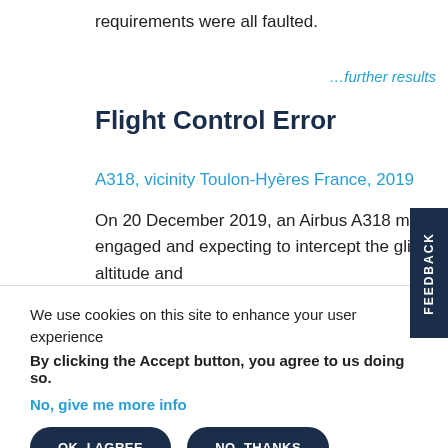requirements were all faulted.
…further results
Flight Control Error
A318, vicinity Toulon-Hyères France, 2019
On 20 December 2019, an Airbus A318 making a tailwind ILS approach to Toulon-Hyères with the autopilot engaged and expecting to intercept the glideslope from above had not done so when reaching the pre-selected altitude and
We use cookies on this site to enhance your user experience
By clicking the Accept button, you agree to us doing so.
No, give me more info
OK, I AGREE
NO, THANKS